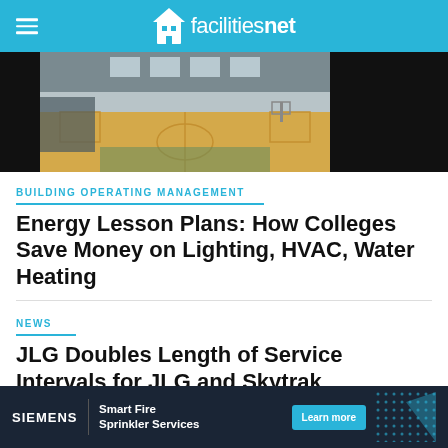facilitiesnet
[Figure (photo): Interior photo of a college gymnasium with a basketball court, wooden floor, bleachers, and overhead lighting. The image has dark/black regions on the left and right sides.]
BUILDING OPERATING MANAGEMENT
Energy Lesson Plans: How Colleges Save Money on Lighting, HVAC, Water Heating
NEWS
JLG Doubles Length of Service Intervals for JLG and Skytrak Telehandlers
[Figure (infographic): Advertisement banner for Siemens Smart Fire Sprinkler Services with a Learn more button and decorative dot pattern on dark background.]